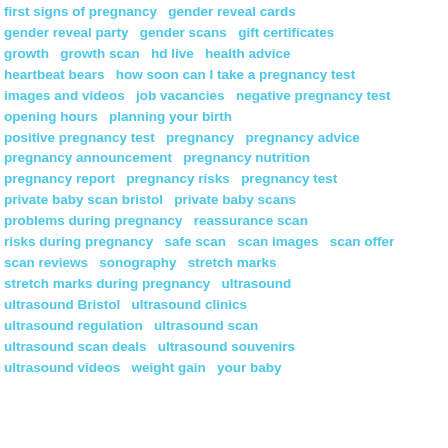first signs of pregnancy   gender reveal cards   gender reveal party   gender scans   gift certificates   growth   growth scan   hd live   health advice   heartbeat bears   how soon can I take a pregnancy test   images and videos   job vacancies   negative pregnancy test   opening hours   planning your birth   positive pregnancy test   pregnancy   pregnancy advice   pregnancy announcement   pregnancy nutrition   pregnancy report   pregnancy risks   pregnancy test   private baby scan bristol   private baby scans   problems during pregnancy   reassurance scan   risks during pregnancy   safe scan   scan images   scan offer   scan reviews   sonography   stretch marks   stretch marks during pregnancy   ultrasound   ultrasound Bristol   ultrasound clinics   ultrasound regulation   ultrasound scan   ultrasound scan deals   ultrasound souvenirs   ultrasound videos   weight gain   your baby